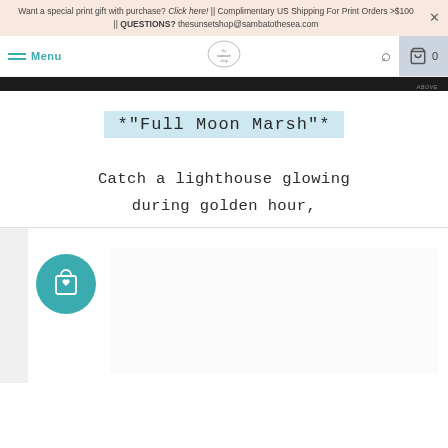Want a special print gift with purchase? Click here! || Complimentary US Shipping For Print Orders >$100 || QUESTIONS? thesunsetshop@sambatothesea.com
Menu | [logo] | [search] | [cart] 0
[Figure (photo): Dark photograph strip at top of page, narrow cropped image]
*"Full Moon Marsh"*
Catch a lighthouse glowing during golden hour,
[Figure (photo): Product image area with white background and teal wishlist/cart button]